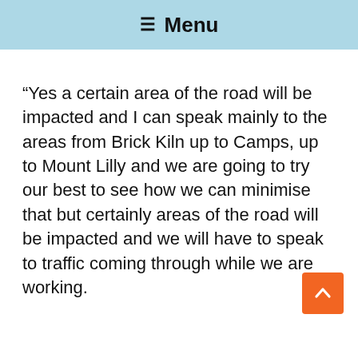≡ Menu
“Yes a certain area of the road will be impacted and I can speak mainly to the areas from Brick Kiln up to Camps, up to Mount Lilly and we are going to try our best to see how we can minimise that but certainly areas of the road will be impacted and we will have to speak to traffic coming through while we are working.